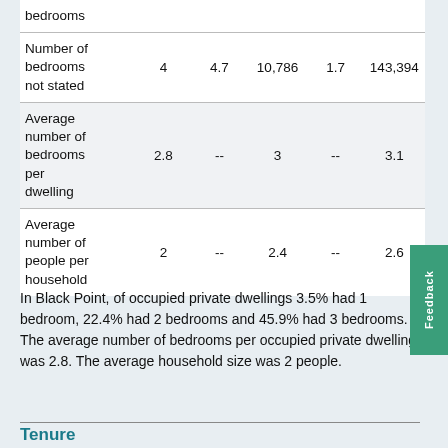|  |  |  |  |  |  |
| --- | --- | --- | --- | --- | --- |
| bedrooms |  |  |  |  |  |
| Number of bedrooms not stated | 4 | 4.7 | 10,786 | 1.7 | 143,394 |
| Average number of bedrooms per dwelling | 2.8 | -- | 3 | -- | 3.1 |
| Average number of people per household | 2 | -- | 2.4 | -- | 2.6 |
In Black Point, of occupied private dwellings 3.5% had 1 bedroom, 22.4% had 2 bedrooms and 45.9% had 3 bedrooms. The average number of bedrooms per occupied private dwelling was 2.8. The average household size was 2 people.
Tenure